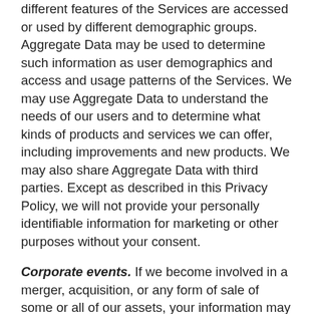different features of the Services are accessed or used by different demographic groups. Aggregate Data may be used to determine such information as user demographics and access and usage patterns of the Services. We may use Aggregate Data to understand the needs of our users and to determine what kinds of products and services we can offer, including improvements and new products. We may also share Aggregate Data with third parties. Except as described in this Privacy Policy, we will not provide your personally identifiable information for marketing or other purposes without your consent.
Corporate events. If we become involved in a merger, acquisition, or any form of sale of some or all of our assets, your information may be included in the assets sold or transferred to the acquirer. You agree that we may transfer or assign the information we have collected about you in connection with any such event. In the event of a bankruptcy, insolvency, reorganization